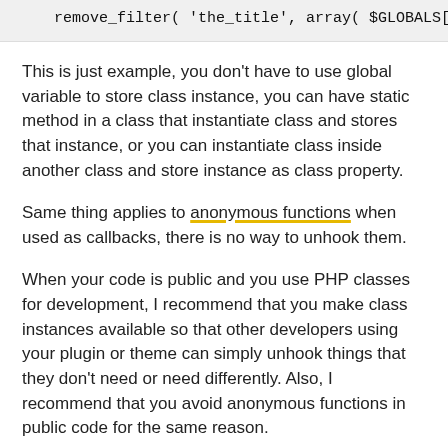[Figure (screenshot): Code snippet showing: remove_filter( 'the_title', array( $GLOBALS['mo...]
This is just example, you don't have to use global variable to store class instance, you can have static method in a class that instantiate class and stores that instance, or you can instantiate class inside another class and store instance as class property.
Same thing applies to anonymous functions when used as callbacks, there is no way to unhook them.
When your code is public and you use PHP classes for development, I recommend that you make class instances available so that other developers using your plugin or theme can simply unhook things that they don't need or need differently. Also, I recommend that you avoid anonymous functions in public code for the same reason.